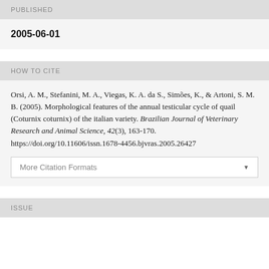PUBLISHED
2005-06-01
HOW TO CITE
Orsi, A. M., Stefanini, M. A., Viegas, K. A. da S., Simões, K., & Artoni, S. M. B. (2005). Morphological features of the annual testicular cycle of quail (Coturnix coturnix) of the italian variety. Brazilian Journal of Veterinary Research and Animal Science, 42(3), 163-170. https://doi.org/10.11606/issn.1678-4456.bjvras.2005.26427
More Citation Formats
ISSUE